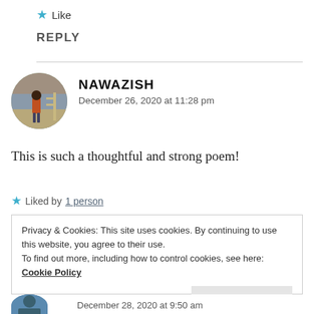★ Like
REPLY
[Figure (photo): Circular avatar photo of Nawazish, a person standing near a fence outdoors]
NAWAZISH
December 26, 2020 at 11:28 pm
This is such a thoughtful and strong poem!
★ Liked by 1 person
Privacy & Cookies: This site uses cookies. By continuing to use this website, you agree to their use.
To find out more, including how to control cookies, see here: Cookie Policy
Close and accept
December 28, 2020 at 9:50 am